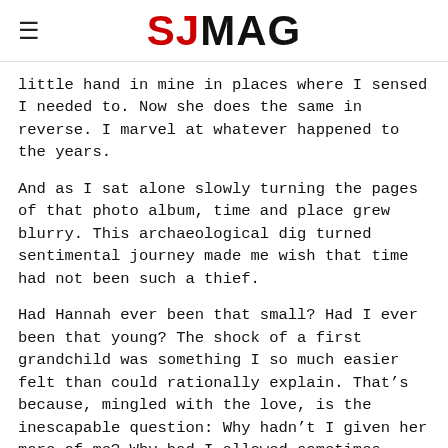SJMAG
little hand in mine in places where I sensed I needed to. Now she does the same in reverse. I marvel at whatever happened to the years.
And as I sat alone slowly turning the pages of that photo album, time and place grew blurry. This archaeological dig turned sentimental journey made me wish that time had not been such a thief.
Had Hannah ever been that small? Had I ever been that young? The shock of a first grandchild was something I so much easier felt than could rationally explain. That’s because, mingled with the love, is the inescapable question: Why hadn’t I given her more of me? Why had I allowed sometimes foolish things to get ahead of time with her?